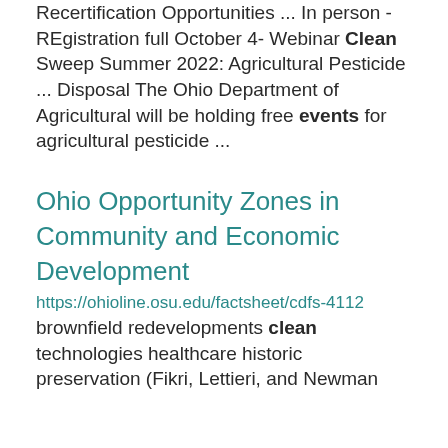Recertification Opportunities ... In person - REgistration full October 4- Webinar Clean Sweep Summer 2022: Agricultural Pesticide ... Disposal The Ohio Department of Agricultural will be holding free events for agricultural pesticide ...
Ohio Opportunity Zones in Community and Economic Development
https://ohioline.osu.edu/factsheet/cdfs-4112
brownfield redevelopments clean technologies healthcare historic preservation (Fikri, Lettieri, and Newman